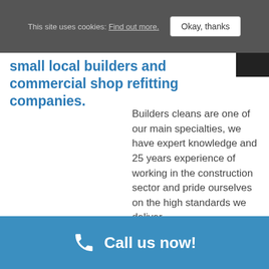This site uses cookies: Find out more.  Okay, thanks
small local builders and commercial shop refitting companies.
Builders cleans are one of our main specialties, we have expert knowledge and 25 years experience of working in the construction sector and pride ourselves on the high standards we deliver.

We follow a strict Health and Safety
Call us now!